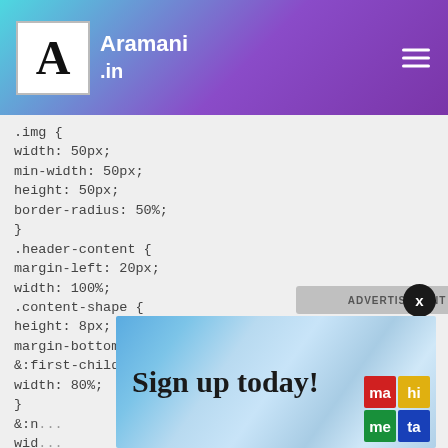Aramani.in
.img {
width: 50px;
min-width: 50px;
height: 50px;
border-radius: 50%;
}
.header-content {
margin-left: 20px;
width: 100%;
.content-shape {
height: 8px;
margin-bottom: 8px;
&:first-child {
width: 80%;
}
&:n...
wid...
}
}
}
[Figure (screenshot): Advertisement banner overlay showing 'Sign up today!' with geometric blue background and brand icons in bottom right corner. Has 'ADVERTISEMENT' label and X close button.]